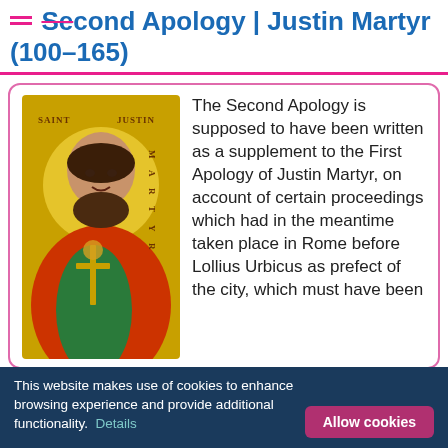Second Apology | Justin Martyr (100–165)
[Figure (illustration): Icon painting of Saint Justin Martyr with golden halo, wearing red and green robes, holding a cross, with text 'SAINT JUSTIN MARTYR' in background.]
The Second Apology is supposed to have been written as a supplement to the First Apology of Justin Martyr, on account of certain proceedings which had in the meantime taken place in Rome before Lollius Urbicus as prefect of the city, which must have been
This website makes use of cookies to enhance browsing experience and provide additional functionality.  Details
Allow cookies